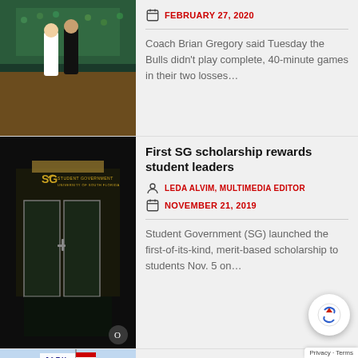[Figure (photo): Basketball game action photo showing players in white and dark uniforms on a green court with crowd in background]
FEBRUARY 27, 2020
Coach Brian Gregory said Tuesday the Bulls didn't play complete, 40-minute games in their two losses…
[Figure (photo): Student Government office entrance with SG logo and 'University of South Florida' text on glass doors in dark lighting]
First SG scholarship rewards student leaders
LEDA ALVIM, MULTIMEDIA EDITOR
NOVEMBER 21, 2019
Student Government (SG) launched the first-of-its-kind, merit-based scholarship to students Nov. 5 on…
[Figure (photo): Jabil building exterior with American flag on flagpole, blue and white corporate building facade]
On-campus Jabil institu sparks anticipation from